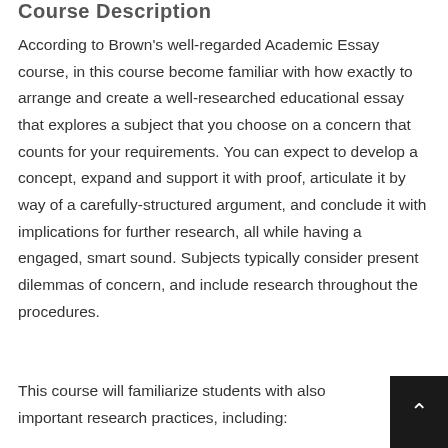Course Description
According to Brown's well-regarded Academic Essay course, in this course become familiar with how exactly to arrange and create a well-researched educational essay that explores a subject that you choose on a concern that counts for your requirements. You can expect to develop a concept, expand and support it with proof, articulate it by way of a carefully-structured argument, and conclude it with implications for further research, all while having a engaged, smart sound. Subjects typically consider present dilemmas of concern, and include research throughout the procedures.
This course will familiarize students with also important research practices, including: